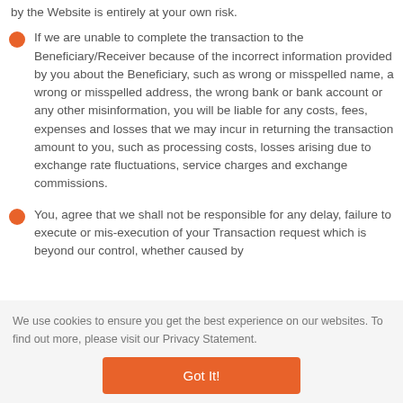by the Website is entirely at your own risk.
If we are unable to complete the transaction to the Beneficiary/Receiver because of the incorrect information provided by you about the Beneficiary, such as wrong or misspelled name, a wrong or misspelled address, the wrong bank or bank account or any other misinformation, you will be liable for any costs, fees, expenses and losses that we may incur in returning the transaction amount to you, such as processing costs, losses arising due to exchange rate fluctuations, service charges and exchange commissions.
You, agree that we shall not be responsible for any delay, failure to execute or mis-execution of your Transaction request which is beyond our control, whether caused by
We use cookies to ensure you get the best experience on our websites. To find out more, please visit our Privacy Statement.
Got It!